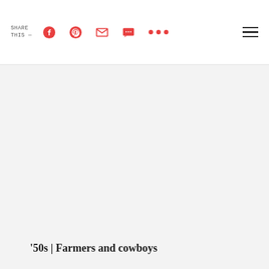SHARE THIS —
[Figure (screenshot): Large empty/light gray image area representing a photo placeholder]
'50s | Farmers and cowboys